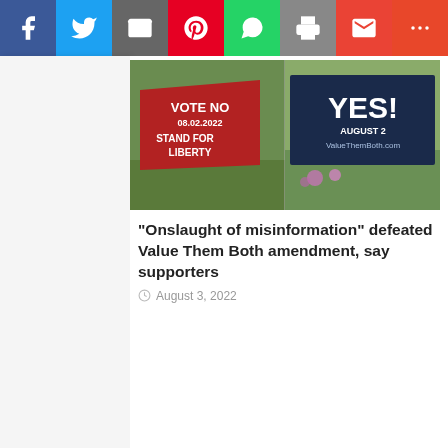[Figure (other): Social media share bar with icons for Facebook (blue), Twitter (light blue), Email (gray), Pinterest (red), WhatsApp (green), Print (gray), Gmail (red), and More (orange-red)]
[Figure (photo): Two yard signs side by side: left sign reads VOTE NO 08.02.2022 STAND FOR LIBERTY (red sign), right sign reads YES! AUGUST 2, ValueThemBoth.com (dark navy sign) — related to Kansas Value Them Both amendment vote]
“Onslaught of misinformation” defeated Value Them Both amendment, say supporters
August 3, 2022